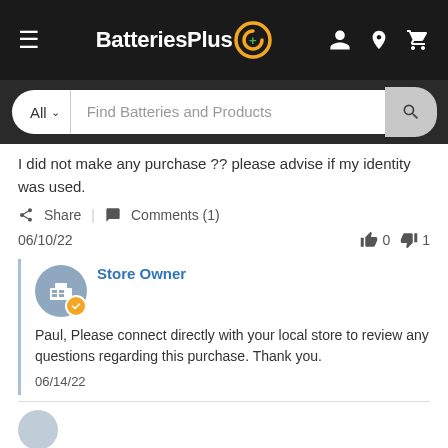BatteriesPlus
[Figure (screenshot): Search bar with 'All' dropdown and 'Find Batteries and Products' placeholder text]
I did not make any purchase ?? please advise if my identity was used.
Share | Comments (1)
06/10/22  👍 0  👎 1
Store Owner
Paul, Please connect directly with your local store to review any questions regarding this purchase. Thank you.
06/14/22